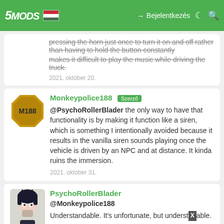5MODS | Bejelentkezés
pressing the horn just once to turn it on and off rather than having to hold the button constantly makes it difficult to play the music while driving the truck.
2021. október 20.
Monkeypolice188 Szerző
@PsychoRollerBlader the only way to have that functionality is by making it function like a siren, which is something I intentionally avoided because it results in the vanilla siren sounds playing once the vehicle is driven by an NPC and at distance. It kinda ruins the immersion.
2021. október 31.
PsychoRollerBlader
@Monkeypolice188
Understandable. It's unfortunate, but understandable.
2021. október 31.